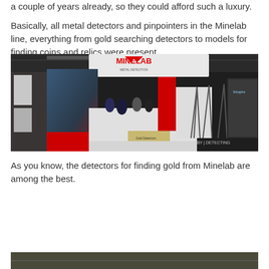a couple of years already, so they could afford such a luxury.
Basically, all metal detectors and pinpointers in the Minelab line, everything from gold searching detectors to models for finding coins and relics were present.
[Figure (photo): Trade show exhibition booth for Minelab metal detectors, showing a large banner with a person using a metal detector on a beach, crowd of visitors, and product displays. Watermark reads HOBBY DETECTING.]
As you know, the detectors for finding gold from Minelab are among the best.
[Figure (photo): Partial view of another photo, appears to show metal detecting equipment or outdoor scene, cropped at bottom of page.]